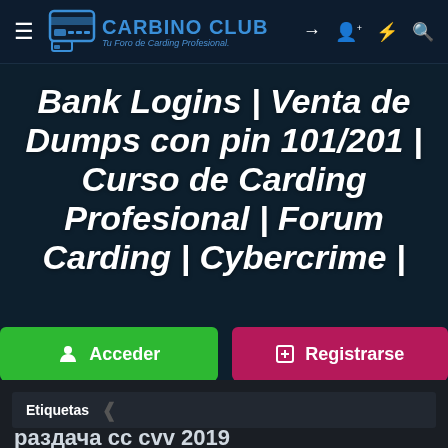[Figure (screenshot): Carbino Club website header with logo, navigation icons (hamburger menu, login, register, lightning, search)]
Bank Logins | Venta de Dumps con pin 101/201 | Curso de Carding Profesional | Forum Carding | Cybercrime |
Acceder
Registrarse
Etiquetas
раздача сс сvv 2019